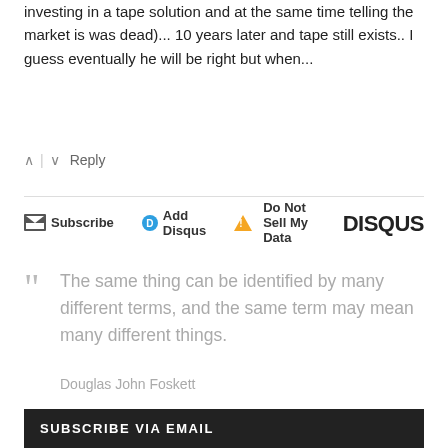investing in a tape solution and at the same time telling the market is was dead)... 10 years later and tape still exists.. I guess eventually he will be right but when...
∧ | ∨ Reply
Subscribe | Add Disqus | Do Not Sell My Data | DISQUS
"The same thing can be identified by many different terms, and the same term may mean many different things.
Douglas John Foskett
SUBSCRIBE VIA EMAIL